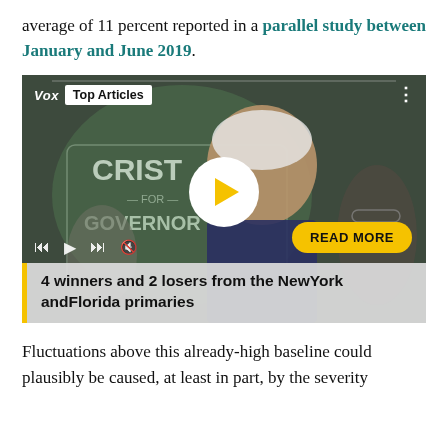average of 11 percent reported in a parallel study between January and June 2019.
[Figure (screenshot): Vox Top Articles video player showing a man at a political event with 'Crist for Governor' sign in background. Controls bar at bottom, large circular play button in center, READ MORE yellow button, and caption '4 winners and 2 losers from the NewYork andFlorida primaries' at the bottom.]
Fluctuations above this already-high baseline could plausibly be caused, at least in part, by the severity